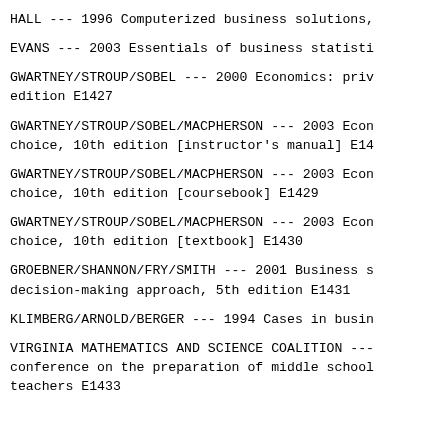HALL --- 1996 Computerized business solutions,
EVANS --- 2003 Essentials of business statisti
GWARTNEY/STROUP/SOBEL --- 2000 Economics: priv edition E1427
GWARTNEY/STROUP/SOBEL/MACPHERSON --- 2003 Econ choice, 10th edition [instructor's manual] E14
GWARTNEY/STROUP/SOBEL/MACPHERSON --- 2003 Econ choice, 10th edition [coursebook] E1429
GWARTNEY/STROUP/SOBEL/MACPHERSON --- 2003 Econ choice, 10th edition [textbook] E1430
GROEBNER/SHANNON/FRY/SMITH --- 2001 Business s decision-making approach, 5th edition E1431
KLIMBERG/ARNOLD/BERGER --- 1994 Cases in busin
VIRGINIA MATHEMATICS AND SCIENCE COALITION --- conference on the preparation of middle school teachers E1433